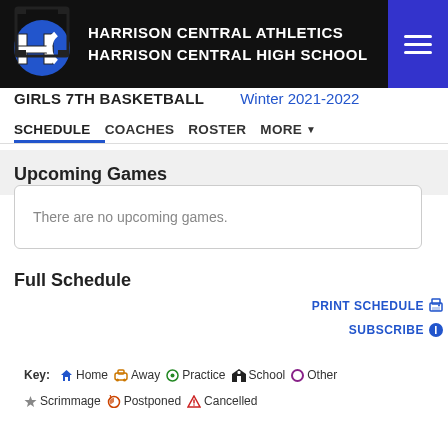HARRISON CENTRAL ATHLETICS HARRISON CENTRAL HIGH SCHOOL
GIRLS 7TH BASKETBALL   Winter 2021-2022
SCHEDULE  COACHES  ROSTER  MORE
Upcoming Games
There are no upcoming games.
Full Schedule
PRINT SCHEDULE
SUBSCRIBE
Key: Home Away Practice School Other Scrimmage Postponed Cancelled